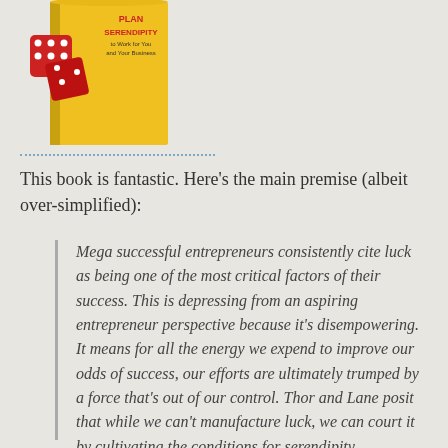[Figure (photo): Book cover of a book about planning serendipity to work for you and your business, with a yellow cover and red dice on the left side.]
This book is fantastic. Here's the main premise (albeit over-simplified):
Mega successful entrepreneurs consistently cite luck as being one of the most critical factors of their success. This is depressing from an aspiring entrepreneur perspective because it's disempowering. It means for all the energy we expend to improve our odds of success, our efforts are ultimately trumped by a force that's out of our control. Thor and Lane posit that while we can't manufacture luck, we can court it by cultivating the conditions for serendipity.